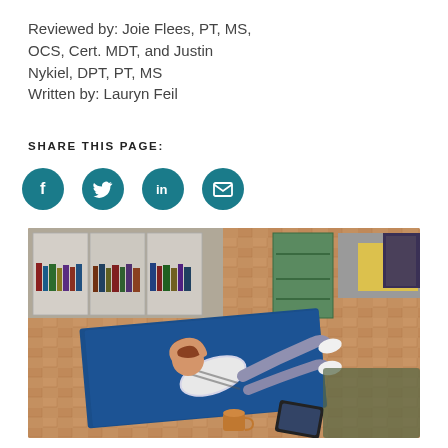Reviewed by: Joie Flees, PT, MS, OCS, Cert. MDT, and Justin Nykiel, DPT, PT, MS
Written by: Lauryn Feil
SHARE THIS PAGE:
[Figure (infographic): Four circular teal social media sharing icons: Facebook (f), Twitter/X (bird), LinkedIn (in), and Email (envelope)]
[Figure (photo): Overhead view of a woman doing crunches/sit-ups on a blue yoga mat on a parquet wood floor in a living room with bookshelves, a chair with a yellow cushion, and a tablet on the floor nearby]